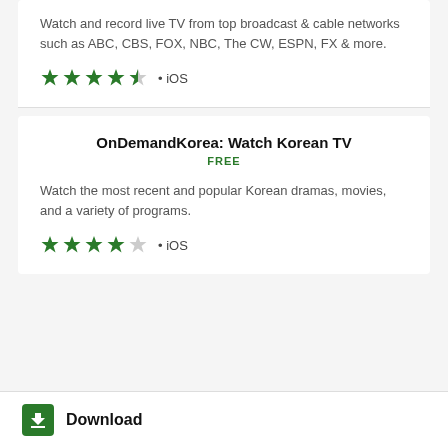Watch and record live TV from top broadcast & cable networks such as ABC, CBS, FOX, NBC, The CW, ESPN, FX & more.
★★★★½ • iOS
OnDemandKorea: Watch Korean TV
FREE
Watch the most recent and popular Korean dramas, movies, and a variety of programs.
★★★★☆ • iOS
Download